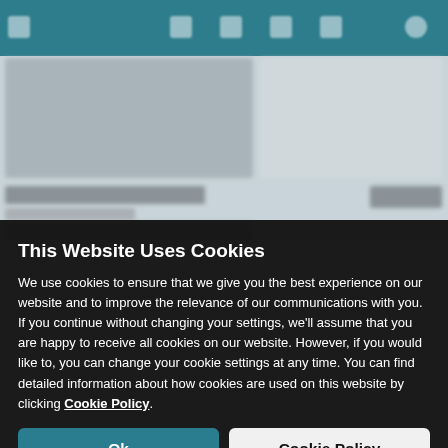[Figure (screenshot): Blurred website background showing a teal navigation header bar and product listing cards beneath it, partially obscured by the cookie consent overlay.]
This Website Uses Cookies
We use cookies to ensure that we give you the best experience on our website and to improve the relevance of our communications with you. If you continue without changing your settings, we'll assume that you are happy to receive all cookies on our website. However, if you would like to, you can change your cookie settings at any time. You can find detailed information about how cookies are used on this website by clicking Cookie Policy.
Ok
Cookie Policy